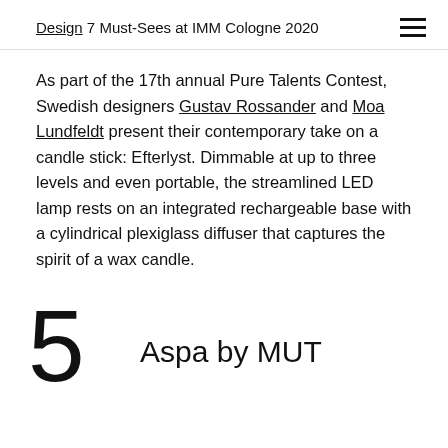Design 7 Must-Sees at IMM Cologne 2020
As part of the 17th annual Pure Talents Contest, Swedish designers Gustav Rossander and Moa Lundfeldt present their contemporary take on a candle stick: Efterlyst. Dimmable at up to three levels and even portable, the streamlined LED lamp rests on an integrated rechargeable base with a cylindrical plexiglass diffuser that captures the spirit of a wax candle.
5 Aspa by MUT